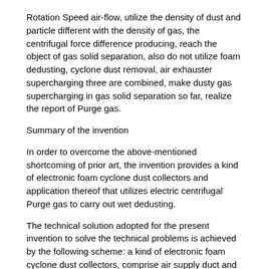Rotation Speed air-flow, utilize the density of dust and particle different with the density of gas, the centrifugal force difference producing, reach the object of gas solid separation, also do not utilize foam dedusting, cyclone dust removal, air exhauster supercharging three are combined, make dusty gas supercharging in gas solid separation so far, realize the report of Purge gas.
Summary of the invention
In order to overcome the above-mentioned shortcoming of prior art, the invention provides a kind of electronic foam cyclone dust collectors and application thereof that utilizes electric centrifugal Purge gas to carry out wet dedusting.
The technical solution adopted for the present invention to solve the technical problems is achieved by the following scheme: a kind of electronic foam cyclone dust collectors, comprise air supply duct and deduster cylindrical shell, the end of air supply duct is fixed on hemispherical corner on the top cover of deduster cylindrical shell, in deduster cylindrical shell, it is vane rotary district, impeller is connected with motor power by axle, the spray pipe network that utilizes recirculated water to spray is housed